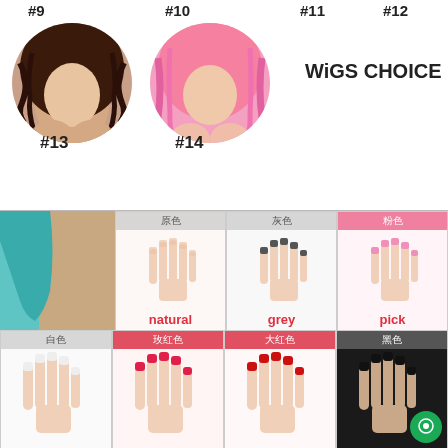#9
#10
#11
#12
[Figure (photo): Two circular wig display photos: #13 dark brown wavy wig and #14 pink long straight wig on mannequin heads]
#13
#14
WiGS CHOICE
[Figure (photo): Nail color choice panel showing hands with different nail polish colors: natural (原色), grey (灰色), pick/pink (粉色), white (白色), rose-red (玫红色), dark-red (大红色), black (黑色). Left side shows arm photo.]